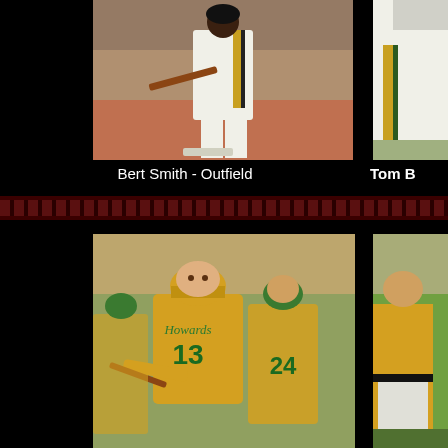[Figure (photo): Bert Smith outfielder mid-swing at bat, wearing white baseball uniform with gold stripe, crowd visible in background on red clay field]
[Figure (photo): Partial photo of Tom B, player in gold and white baseball uniform, cropped at right edge of page]
Bert Smith - Outfield
Tom B
[Figure (photo): Player number 13 in Howards gold jersey celebrating with teammates, player number 24 visible in background]
[Figure (photo): Partial photo of player in gold uniform on green grass field, cropped at right edge]